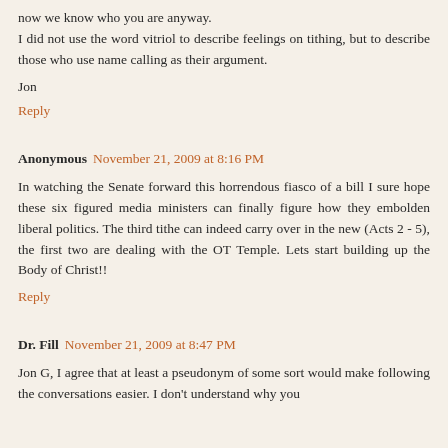now we know who you are anyway.
I did not use the word vitriol to describe feelings on tithing, but to describe those who use name calling as their argument.
Jon
Reply
Anonymous  November 21, 2009 at 8:16 PM
In watching the Senate forward this horrendous fiasco of a bill I sure hope these six figured media ministers can finally figure how they embolden liberal politics. The third tithe can indeed carry over in the new (Acts 2 - 5), the first two are dealing with the OT Temple. Lets start building up the Body of Christ!!
Reply
Dr. Fill  November 21, 2009 at 8:47 PM
Jon G, I agree that at least a pseudonym of some sort would make following the conversations easier. I don't understand why you would be not to respect the right to any debate on these t